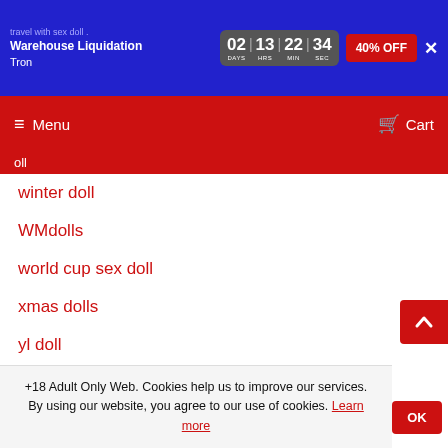travel with sex doll · Warehouse Liquidation Tron | 02 DAYS | 13 HRS | 22 MIN | 34 SEC | 40% OFF
≡ Menu  🛒 Cart
oll
winter doll
WMdolls
world cup sex doll
xmas dolls
yl doll
your doll
youtube sex doll
Zcash
+18 Adult Only Web. Cookies help us to improve our services. By using our website, you agree to our use of cookies. Learn more
OK